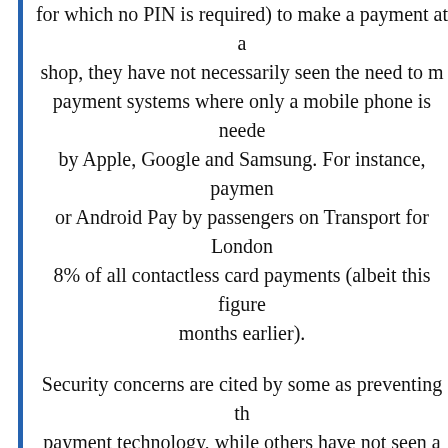for which no PIN is required) to make a payment at a shop, they have not necessarily seen the need to make payment systems where only a mobile phone is needed by Apple, Google and Samsung. For instance, payments or Android Pay by passengers on Transport for London 8% of all contactless card payments (albeit this figure months earlier).
Security concerns are cited by some as preventing the payment technology, while others have not seen a pre- technology given that existing 'tap and go' or 'wave and same job. There is also the sentiment expressed by ma- a mobile phone or having it stolen is a traumatic enough added complication of card security being com-
Another reason that has prevented greater uptake of has been their hitherto relatively limited acceptance, haven't found that there are enough opportunities to use switching over to it entirely.
However, two important factors point towards much fa-